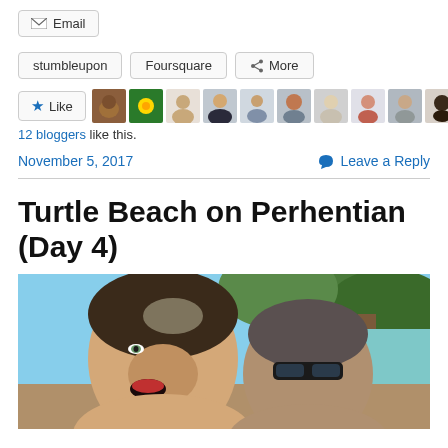[Figure (screenshot): Email share button]
[Figure (screenshot): StumbleUpon, Foursquare, More share buttons row]
[Figure (screenshot): Like button with 12 blogger avatars and '12 bloggers like this.' text]
12 bloggers like this.
November 5, 2017
Leave a Reply
Turtle Beach on Perhentian (Day 4)
[Figure (photo): Selfie photo of a woman and a man outdoors under a tree with tropical scenery and turquoise water in the background]